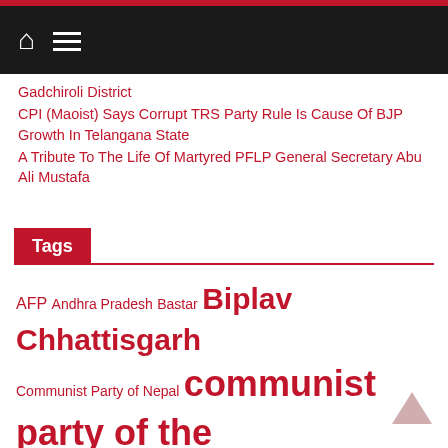Gadchiroli District
CPI (Maoist) Says Corrupt TRS Party Rule Is Cause Of BJP Growth In Telangana State
A Tribute To The Life Of Martyred PFLP General Secretary Abu Ali Mustafa
Tags
AFP Andhra Pradesh Bastar Biplav Chhattisgarh Communist Party of Nepal communist party of the philippines Covid-19 CPI (maoist) CPI(maoist) CPN CPP CPP-NPA-NDF CPP-NPA-NDFP Duterte GRP-NDFP Peace Talks India Jharkhand Joma Sison Jose Maria Sison Jugendwiderstand